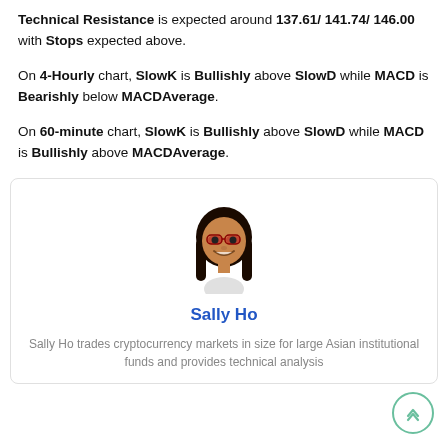Technical Resistance is expected around 137.61/ 141.74/ 146.00 with Stops expected above.
On 4-Hourly chart, SlowK is Bullishly above SlowD while MACD is Bearishly below MACDAverage.
On 60-minute chart, SlowK is Bullishly above SlowD while MACD is Bullishly above MACDAverage.
[Figure (illustration): Cartoon avatar of Sally Ho, a woman with black hair and glasses]
Sally Ho
Sally Ho trades cryptocurrency markets in size for large Asian institutional funds and provides technical analysis